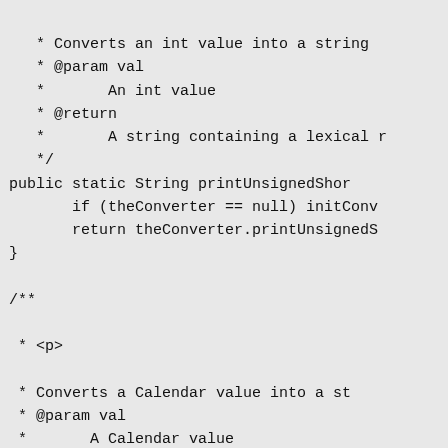* Converts an int value into a string
    * @param val
    *       An int value
    * @return
    *       A string containing a lexical r
    */
 public static String printUnsignedShor
       if (theConverter == null) initConv
       return theConverter.printUnsignedS
 }

 /**

  * <p>

  * Converts a Calendar value into a st
  * @param val
  *       A Calendar value
  *